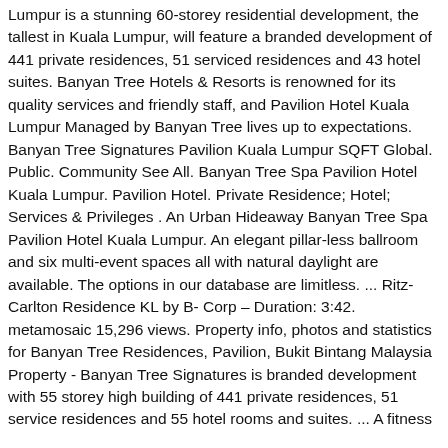Lumpur is a stunning 60-storey residential development, the tallest in Kuala Lumpur, will feature a branded development of 441 private residences, 51 serviced residences and 43 hotel suites. Banyan Tree Hotels & Resorts is renowned for its quality services and friendly staff, and Pavilion Hotel Kuala Lumpur Managed by Banyan Tree lives up to expectations. Banyan Tree Signatures Pavilion Kuala Lumpur SQFT Global. Public. Community See All. Banyan Tree Spa Pavilion Hotel Kuala Lumpur. Pavilion Hotel. Private Residence; Hotel; Services & Privileges . An Urban Hideaway Banyan Tree Spa Pavilion Hotel Kuala Lumpur. An elegant pillar-less ballroom and six multi-event spaces all with natural daylight are available. The options in our database are limitless. ... Ritz-Carlton Residence KL by B- Corp – Duration: 3:42. metamosaic 15,296 views. Property info, photos and statistics for Banyan Tree Residences, Pavilion, Bukit Bintang Malaysia Property - Banyan Tree Signatures is branded development with 55 storey high building of 441 private residences, 51 service residences and 55 hotel rooms and suites. ... A fitness